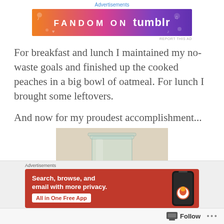Advertisements
[Figure (illustration): Fandom on Tumblr advertisement banner with colorful gradient background showing music and fandom icons]
REPORT THIS AD
For breakfast and lunch I maintained my no-waste goals and finished up the cooked peaches in a big bowl of oatmeal. For lunch I brought some leftovers.
And now for my proudest accomplishment...
[Figure (photo): Photo of a glass mason jar on a beige/cream background, partially cropped]
Advertisements
[Figure (illustration): DuckDuckGo advertisement: Search, browse, and email with more privacy. All in One Free App. Shows a smartphone with the DuckDuckGo logo.]